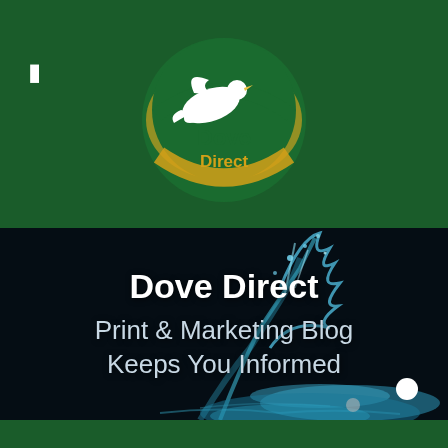[Figure (logo): Dove Direct logo: circular globe design with green and yellow/gold accents, white dove flying, text 'Dove Direct' in green and gold]
Dove Direct
Print & Marketing Blog Keeps You Informed
[Figure (photo): Dark background with blue water splash/droplets, dramatic lighting with teal and cyan tones]